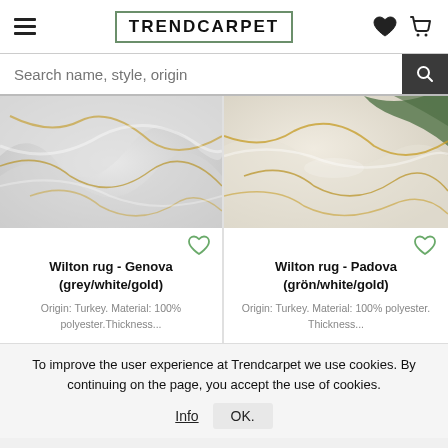TRENDCARPET
Search name, style, origin
[Figure (photo): Close-up of a Wilton rug with marble-like grey, white and gold pattern]
Wilton rug - Genova (grey/white/gold)
Origin: Turkey. Material: 100% polyester.Thickness...
[Figure (photo): Close-up of a Wilton rug with marble-like cream, white and gold pattern with green accents]
Wilton rug - Padova (grön/white/gold)
Origin: Turkey. Material: 100% polyester. Thickness...
To improve the user experience at Trendcarpet we use cookies. By continuing on the page, you accept the use of cookies.
Info    OK.